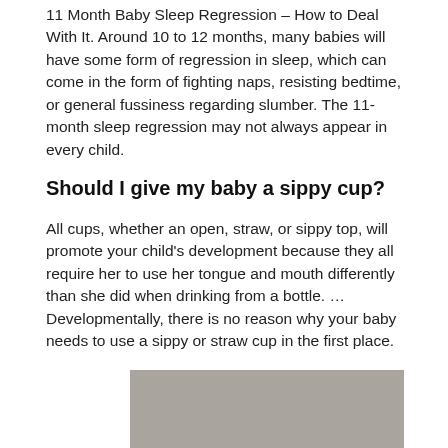11 Month Baby Sleep Regression – How to Deal With It. Around 10 to 12 months, many babies will have some form of regression in sleep, which can come in the form of fighting naps, resisting bedtime, or general fussiness regarding slumber. The 11-month sleep regression may not always appear in every child.
Should I give my baby a sippy cup?
All cups, whether an open, straw, or sippy top, will promote your child's development because they all require her to use her tongue and mouth differently than she did when drinking from a bottle. … Developmentally, there is no reason why your baby needs to use a sippy or straw cup in the first place.
[Figure (photo): A gray/taupe colored rectangular image placeholder at the bottom of the page]